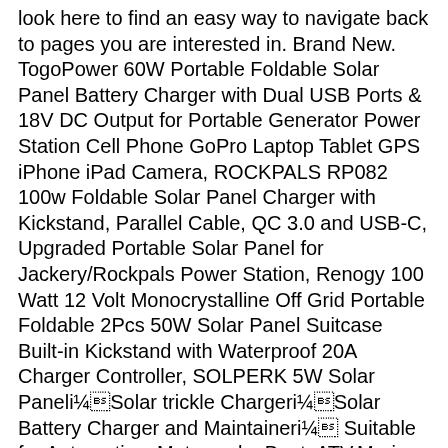look here to find an easy way to navigate back to pages you are interested in. Brand New. TogoPower 60W Portable Foldable Solar Panel Battery Charger with Dual USB Ports & 18V DC Output for Portable Generator Power Station Cell Phone GoPro Laptop Tablet GPS iPhone iPad Camera, ROCKPALS RP082 100w Foldable Solar Panel Charger with Kickstand, Parallel Cable, QC 3.0 and USB-C, Upgraded Portable Solar Panel for Jackery/Rockpals Power Station, Renogy 100 Watt 12 Volt Monocrystalline Off Grid Portable Foldable 2Pcs 50W Solar Panel Suitcase Built-in Kickstand with Waterproof 20A Charger Controller, SOLPERK 5W Solar Paneli¼Solar trickle Chargeri¼Solar Battery Charger and Maintaineri¼ Suitable for Automotive, Motorcycle, Boat, ATV,Marine, RV, Trailer, Powersports, Snowmobile, etc. The Coleman 200W Solar Kit is the ultimate power solution to run your applications. (0) Compare Product. Perfect for all seasons, the Coleman solar panels and kits are essential for emergency power outages and remote locations where electricity is not available. 200W Watt Solar Panel Kit 12Volt Battery Charge Controller for RV Caravan Boat. Wagan Tech. Coleman 300 Watt Solar Kit With Charge Controller, Inverter and Solar Panel. 7 Watt Solar Panel Kit $ 34 99. Save 25%. Youâre seeing this ad based on the productâs relevance to your search query. Live Solar. (5W Solar Panels), Sunforce